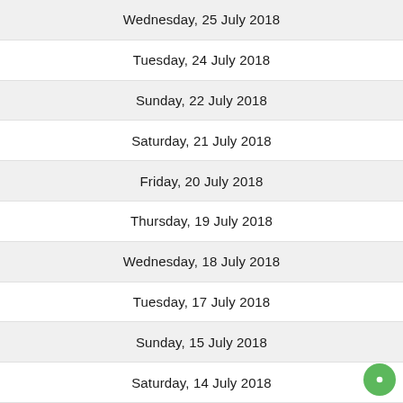Wednesday, 25 July 2018
Tuesday, 24 July 2018
Sunday, 22 July 2018
Saturday, 21 July 2018
Friday, 20 July 2018
Thursday, 19 July 2018
Wednesday, 18 July 2018
Tuesday, 17 July 2018
Sunday, 15 July 2018
Saturday, 14 July 2018